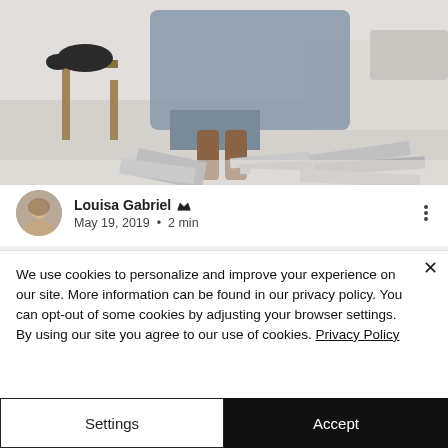[Figure (photo): A person sitting on the floor wrapped in a grey blanket/fabric, with a dog on a wooden chair to the left and stacks of magazines scattered on the white floor.]
Louisa Gabriel [crown icon]
May 19, 2019 · 2 min
We use cookies to personalize and improve your experience on our site. More information can be found in our privacy policy. You can opt-out of some cookies by adjusting your browser settings. By using our site you agree to our use of cookies. Privacy Policy
Settings
Accept